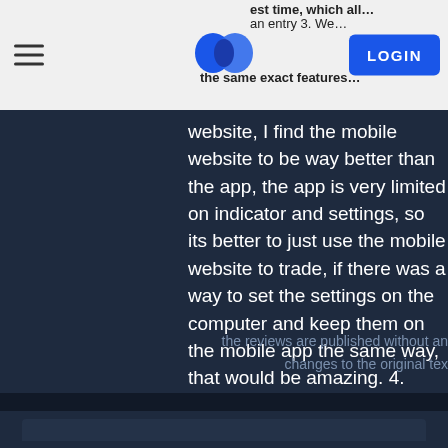LOGIN
...est time, which all...an entry 3. We...the same exact features...website, I find the mobile website to be way better than the app, the app is very limited on indicator and settings, so its better to just use the mobile website to trade, if there was a way to set the settings on the computer and keep them on the mobile app the same way, that would be amazing. 4. When the page refreshes, it resets to unfixed time, wish we could choose what to be the default so it stays that way. I feel like if these things get attention, this would be incredible. Everything else so far is good, so 3 stars.
the reviews are published without an changes to the original tex